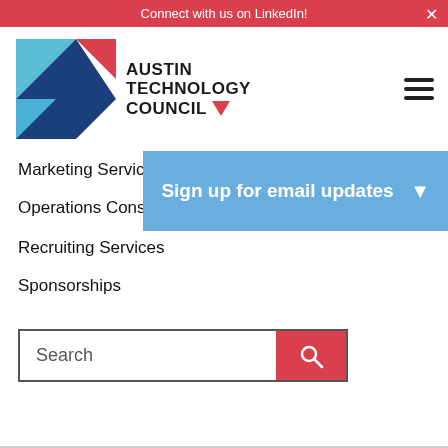Connect with us on LinkedIn!
[Figure (logo): Austin Technology Council logo with geometric triangles in blue and red, bold text AUSTIN TECHNOLOGY COUNCIL with a red chevron]
Marketing Servic…
Operations Cons…
Recruiting Services
Sponsorships
Sign up for email updates
Search